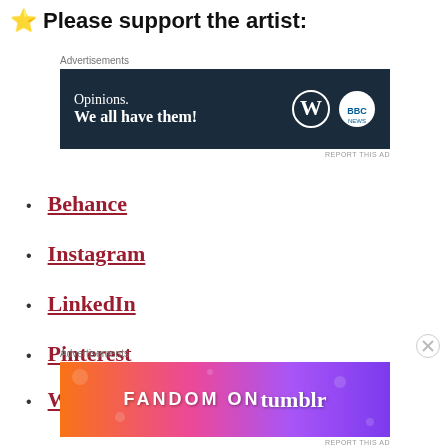⭐ Please support the artist:
[Figure (other): WordPress and BBC advertisement banner reading 'Opinions. We all have them!']
Behance
Instagram
LinkedIn
Pinterest
Website
[Figure (other): Fandom on Tumblr advertisement banner with colorful gradient background]